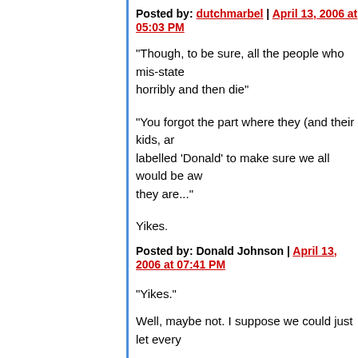Posted by: dutchmarbel | April 13, 2006 at 05:03 PM
"Though, to be sure, all the people who mis-state horribly and then die"
"You forgot the part where they (and their kids, ar... labelled 'Donald' to make sure we all would be aw... they are..."
Yikes.
Posted by: Donald Johnson | April 13, 2006 at 07:41 PM
"Yikes."
Well, maybe not. I suppose we could just let every...
Posted by: Gary Farber | April 13, 2006 at 08:14 PM
"bored now"